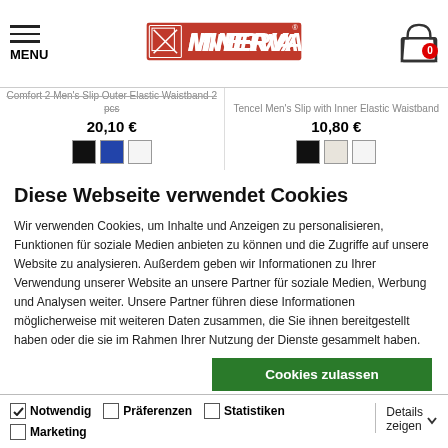MENU | Minerva logo | Shopping cart (0)
Comfort 2 Men's Slip Outer Elastic Waistband 2 pcs
20,10 €
Tencel Men's Slip with Inner Elastic Waistband
10,80 €
Diese Webseite verwendet Cookies
Wir verwenden Cookies, um Inhalte und Anzeigen zu personalisieren, Funktionen für soziale Medien anbieten zu können und die Zugriffe auf unsere Website zu analysieren. Außerdem geben wir Informationen zu Ihrer Verwendung unserer Website an unsere Partner für soziale Medien, Werbung und Analysen weiter. Unsere Partner führen diese Informationen möglicherweise mit weiteren Daten zusammen, die Sie ihnen bereitgestellt haben oder die sie im Rahmen Ihrer Nutzung der Dienste gesammelt haben.
Cookies zulassen
Auswahl erlauben
Nur notwendige Cookies
Notwendig | Präferenzen | Statistiken | Marketing | Details zeigen